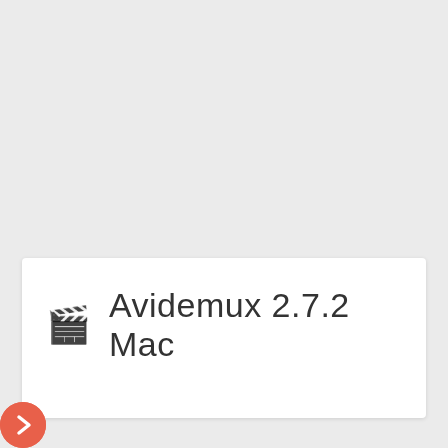🎬 Avidemux 2.7.2 Mac
[Figure (illustration): Orange circular forward/share button with a white arrow icon, positioned at the bottom-left corner of the page]